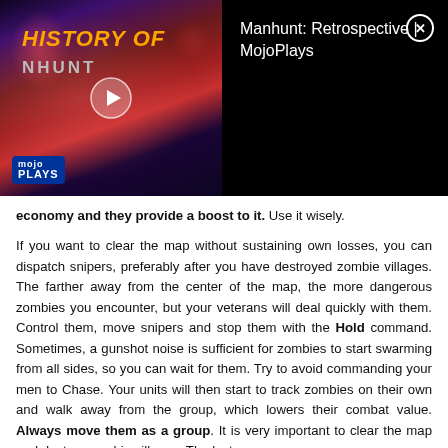[Figure (screenshot): Video thumbnail for 'Manhunt: Retrospective | MojoPlays' showing a horror-themed image with 'HISTORY OF' text in orange and 'NHUNT' visible, with a play button overlay and MojoPlays logo badge. Close button (X) in top right corner.]
economy and they provide a boost to it. Use it wisely.

If you want to clear the map without sustaining own losses, you can dispatch snipers, preferably after you have destroyed zombie villages. The farther away from the center of the map, the more dangerous zombies you encounter, but your veterans will deal quickly with them. Control them, move snipers and stop them with the Hold command. Sometimes, a gunshot noise is sufficient for zombies to start swarming from all sides, so you can wait for them. Try to avoid commanding your men to Chase. Your units will then start to track zombies on their own and walk away from the group, which lowers their combat value. Always move them as a group. It is very important to clear the map and destroy zombie villages. The last